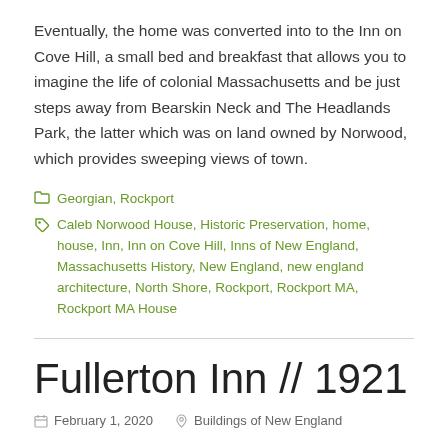Eventually, the home was converted into to the Inn on Cove Hill, a small bed and breakfast that allows you to imagine the life of colonial Massachusetts and be just steps away from Bearskin Neck and The Headlands Park, the latter which was on land owned by Norwood, which provides sweeping views of town.
Georgian, Rockport
Caleb Norwood House, Historic Preservation, home, house, Inn, Inn on Cove Hill, Inns of New England, Massachusetts History, New England, new england architecture, North Shore, Rockport, Rockport MA, Rockport MA House
Fullerton Inn // 1921
February 1, 2020   Buildings of New England